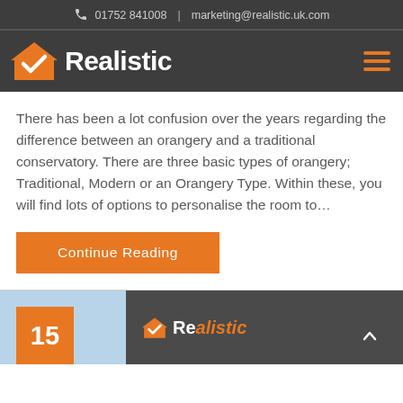📞 01752 841008  |  marketing@realistic.uk.com
[Figure (logo): Realistic logo: orange house with checkmark icon and white bold text 'Realistic' on dark grey background, with hamburger menu icon on right]
There has been a lot confusion over the years regarding the difference between an orangery and a traditional conservatory. There are three basic types of orangery; Traditional, Modern or an Orangery Type. Within these, you will find lots of options to personalise the room to…
Continue Reading
[Figure (photo): Bottom of page showing partial image: orange badge with number 15 on left, and Realistic company sign on right side with trees visible in background]